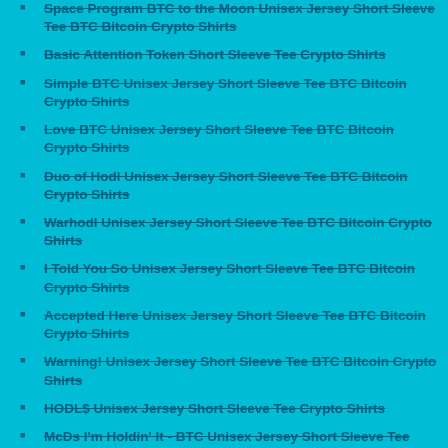Space Program BTC to the Moon Unisex Jersey Short Sleeve Tee BTC Bitcoin Crypto Shirts
Basic Attention Token Short Sleeve Tee Crypto Shirts
Simple BTC Unisex Jersey Short Sleeve Tee BTC Bitcoin Crypto Shirts
Love BTC Unisex Jersey Short Sleeve Tee BTC Bitcoin Crypto Shirts
Duo of Hodl Unisex Jersey Short Sleeve Tee BTC Bitcoin Crypto Shirts
Warhodl Unisex Jersey Short Sleeve Tee BTC Bitcoin Crypto Shirts
I Told You So Unisex Jersey Short Sleeve Tee BTC Bitcoin Crypto Shirts
Accepted Here Unisex Jersey Short Sleeve Tee BTC Bitcoin Crypto Shirts
Warning! Unisex Jersey Short Sleeve Tee BTC Bitcoin Crypto Shirts
HODL$ Unisex Jersey Short Sleeve Tee Crypto Shirts
McDs I'm Holdin' It - BTC Unisex Jersey Short Sleeve Tee Crypto Shirts
Million Little BTC Unisex Jersey Short Sleeve Tee Crypto Shirts
Hash Hodl Unisex Jersey Short Sleeve Tee Crypto Shirts
BIG BTC Unisex Jersey Short Sleeve Tee Crypto Shirts